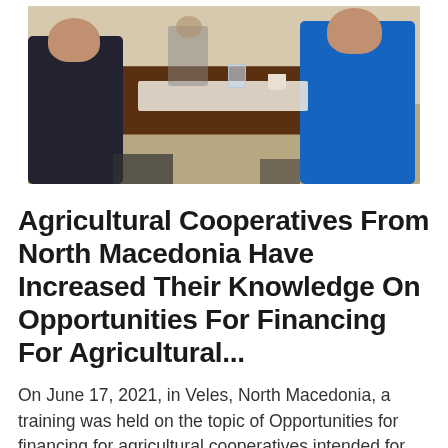[Figure (photo): Photo of people sitting around a round dark wooden table at an outdoor or restaurant setting, viewed from behind. Two people visible — one in a dark shirt on the left, one in a blue shirt on the right. Papers and glasses on the table.]
Agricultural Cooperatives From North Macedonia Have Increased Their Knowledge On Opportunities For Financing For Agricultural...
On June 17, 2021, in Veles, North Macedonia, a training was held on the topic of Opportunities for financing for agricultural cooperatives intended for representatives from agricultural cooperatives that are financially supported [...]